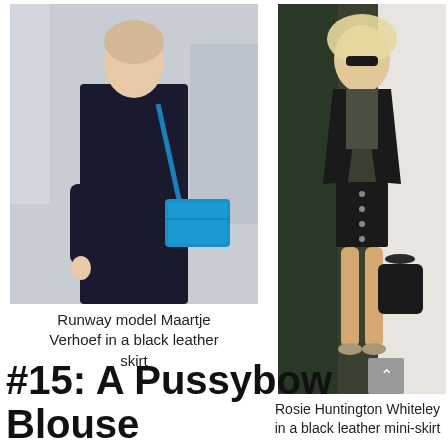[Figure (photo): Runway model Maartje Verhoef wearing a black long-sleeve top and black leather skirt, carrying a teal blue crossbody bag, photographed on a street.]
[Figure (photo): Rosie Huntington Whiteley wearing a black leather jacket, dark blouse, black leather mini-skirt with silver button details and high heels, carrying a black handbag.]
Runway model Maartje Verhoef in a black leather skirt
Rosie Huntington Whiteley in a black leather mini-skirt
#15: A Pussybow Blouse